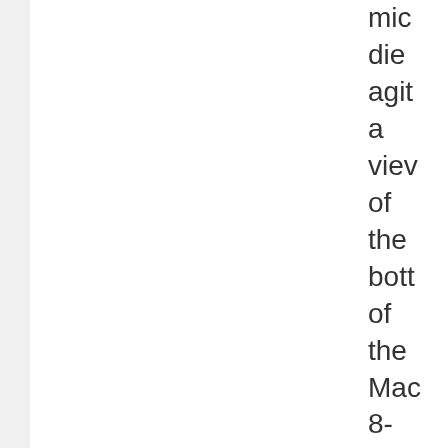mic die agit a view of the bott of the Mag 8-Ball whe all the ans are reve and a